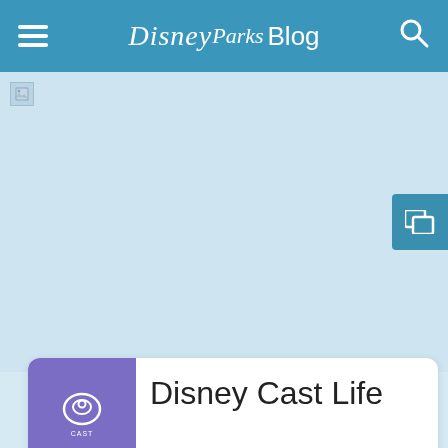Disney Parks Blog
[Figure (photo): Hero image area — light blue placeholder with broken image icon in top-left corner and a teal gallery button on the right side]
Disney Cast Life
More Disney Cast Life Stories